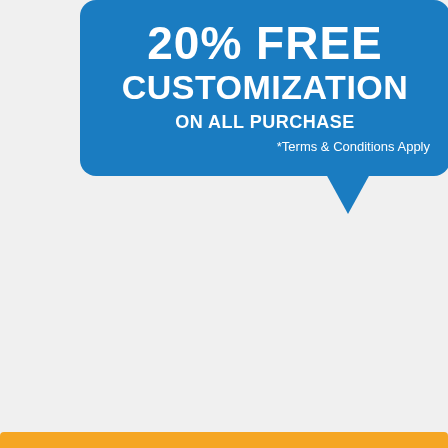20% FREE CUSTOMIZATION ON ALL PURCHASE
*Terms & Conditions Apply
Download Free Sample NOW
Customize The Report
Looking for report on this market in a particular region or country?
GET IN TOUCH